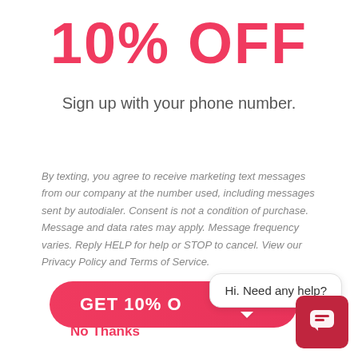10% OFF
Sign up with your phone number.
By texting, you agree to receive marketing text messages from our company at the number used, including messages sent by autodialer. Consent is not a condition of purchase. Message and data rates may apply. Message frequency varies. Reply HELP for help or STOP to cancel. View our Privacy Policy and Terms of Service.
GET 10% O
Hi. Need any help?
No Thanks